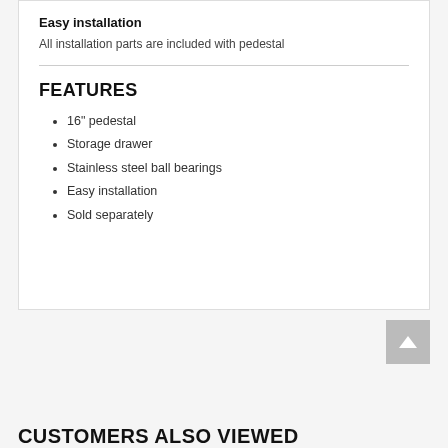Easy installation
All installation parts are included with pedestal
FEATURES
16" pedestal
Storage drawer
Stainless steel ball bearings
Easy installation
Sold separately
CUSTOMERS ALSO VIEWED